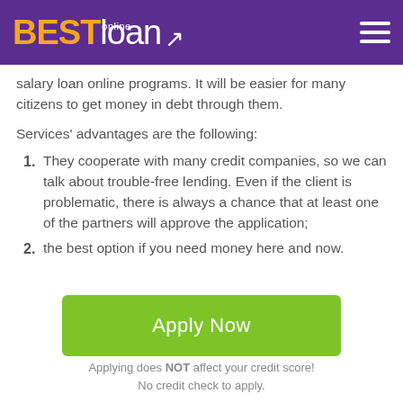BEST loan online
salary loan online programs. It will be easier for many citizens to get money in debt through them.
Services' advantages are the following:
1. They cooperate with many credit companies, so we can talk about trouble-free lending. Even if the client is problematic, there is always a chance that at least one of the partners will approve the application;
2. the best option if you need money here and now.
Apply Now
Applying does NOT affect your credit score!
No credit check to apply.